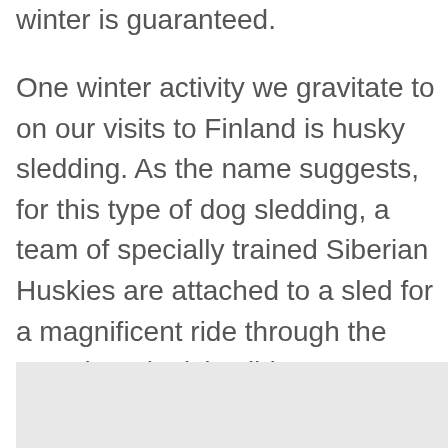winter is guaranteed.
One winter activity we gravitate to on our visits to Finland is husky sledding. As the name suggests, for this type of dog sledding, a team of specially trained Siberian Huskies are attached to a sled for a magnificent ride through the stunning Finnish wilderness.
[Figure (photo): A light gray rectangular image placeholder, likely a photo of Finnish wilderness or husky sledding.]